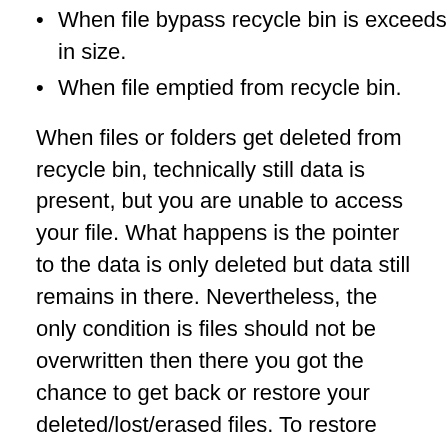When file bypass recycle bin is exceeds in size.
When file emptied from recycle bin.
When files or folders get deleted from recycle bin, technically still data is present, but you are unable to access your file. What happens is the pointer to the data is only deleted but data still remains in there. Nevertheless, the only condition is files should not be overwritten then there you got the chance to get back or restore your deleted/lost/erased files. To restore your data properly you need effective Windows data recovery software. Select the software that must have good interface to support its usage and also recover data from recycle bin/hard drive effectively.
With Remo Recover (Windows) – Basic Edition you will